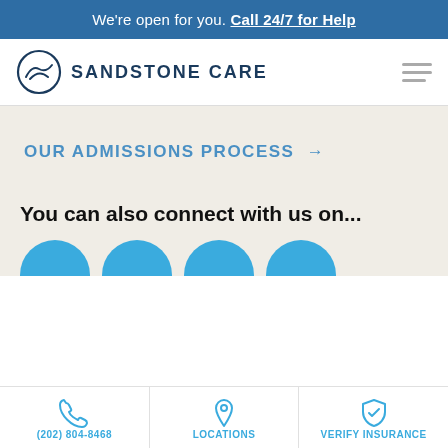We're open for you. Call 24/7 for Help
[Figure (logo): Sandstone Care logo with circular mountain/hands icon and bold text SANDSTONE CARE]
OUR ADMISSIONS PROCESS →
You can also connect with us on...
[Figure (infographic): Four blue semicircle icons representing social media or contact channels]
(202) 804-8468  LOCATIONS  VERIFY INSURANCE